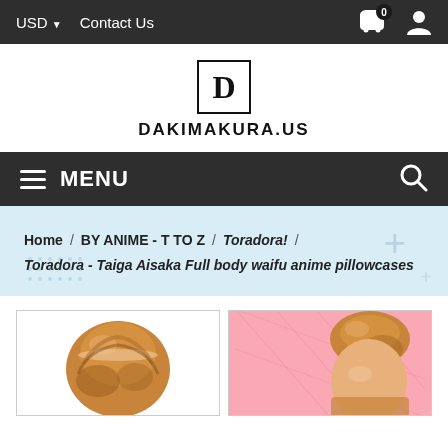USD  Contact Us
[Figure (logo): DAKIMAKURA.US logo with large D in a bordered box above the site name]
MENU
Home / BY ANIME - T TO Z / Toradora! / Toradora - Taiga Aisaka Full body waifu anime pillowcases
[Figure (photo): Two product images of anime pillowcases featuring Taiga Aisaka from Toradora, one with white background and one with pink background]